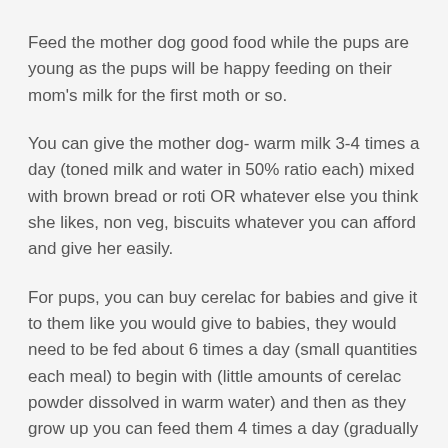Feed the mother dog good food while the pups are young as the pups will be happy feeding on their mom's milk for the first moth or so.
You can give the mother dog- warm milk 3-4 times a day (toned milk and water in 50% ratio each) mixed with brown bread or roti OR whatever else you think she likes, non veg, biscuits whatever you can afford and give her easily.
For pups, you can buy cerelac for babies and give it to them like you would give to babies, they would need to be fed about 6 times a day (small quantities each meal) to begin with (little amounts of cerelac powder dissolved in warm water) and then as they grow up you can feed them 4 times a day (gradually increasing the quantity per meal) with mixtures of milk, cerelac